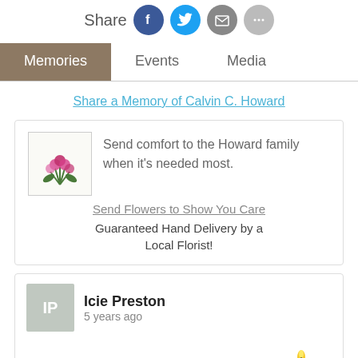[Figure (other): Share row with social media icons: Facebook (blue), Twitter (cyan), Email (gray), Phone/more (light gray)]
Memories | Events | Media (tab bar)
Share a Memory of Calvin C. Howard
[Figure (other): Flower bouquet advertisement card: image of pink flowers, text 'Send comfort to the Howard family when it's needed most.', link 'Send Flowers to Show You Care', text 'Guaranteed Hand Delivery by a Local Florist!']
[Figure (other): Memory post by Icie Preston, 5 years ago, 'Lit a candle in memory of Calvin C. Howard' with a candle image]